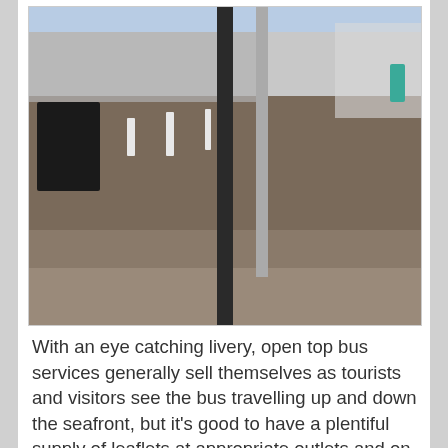[Figure (photo): Outdoor photo of a seafront parking area with cars, white bollards, a black litter bin, a dark vertical pole/sign post in the foreground, and buildings visible in the background on the right.]
With an eye catching livery, open top bus services generally sell themselves as tourists and visitors see the bus travelling up and down the seafront, but it's good to have a plentiful supply of leaflets at appropriate outlets and on board the bus (the 66 had a large box full of its timetables on board along with other route timetables) and timetables were displayed prominently at all bus stops along the route. It recommended that...